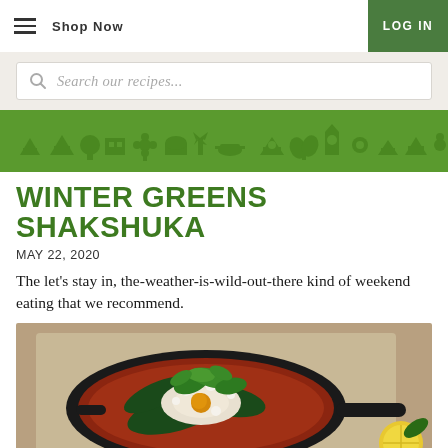Shop Now | LOG IN
Search our recipes...
[Figure (illustration): Green decorative banner with illustrated town/food icons in darker green silhouette pattern]
WINTER GREENS SHAKSHUKA
MAY 22, 2020
The let's stay in, the-weather-is-wild-out-there kind of weekend eating that we recommend.
[Figure (photo): Top-down photo of a cast iron skillet with shakshuka (eggs poached in tomato sauce with greens), topped with feta cheese and fresh cilantro, on a wooden board with lemon in the corner]